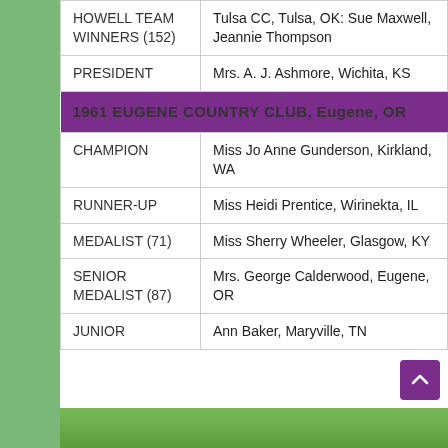| Role | Name/Details |
| --- | --- |
| HOWELL TEAM WINNERS (152) | Tulsa CC, Tulsa, OK: Sue Maxwell, Jeannie Thompson |
| PRESIDENT | Mrs. A. J. Ashmore, Wichita, KS |
| 1961 EUGENE COUNTRY CLUB, Eugene, OR |  |
| CHAMPION | Miss Jo Anne Gunderson, Kirkland, WA |
| RUNNER-UP | Miss Heidi Prentice, Wirinekta, IL |
| MEDALIST (71) | Miss Sherry Wheeler, Glasgow, KY |
| SENIOR MEDALIST (87) | Mrs. George Calderwood, Eugene, OR |
| JUNIOR | Ann Baker, Maryville, TN |